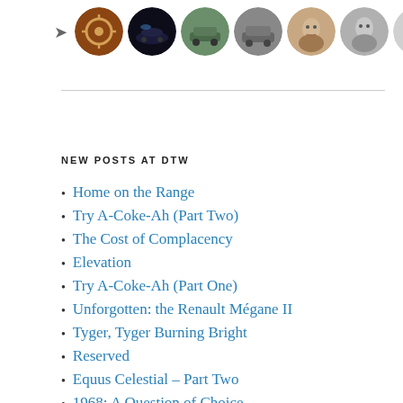[Figure (illustration): Row of circular avatar icons for blog contributors, with a small arrow icon to the left of the first avatar.]
NEW POSTS AT DTW
Home on the Range
Try A-Coke-Ah (Part Two)
The Cost of Complacency
Elevation
Try A-Coke-Ah (Part One)
Unforgotten: the Renault Mégane II
Tyger, Tyger Burning Bright
Reserved
Equus Celestial – Part Two
1968: A Question of Choice